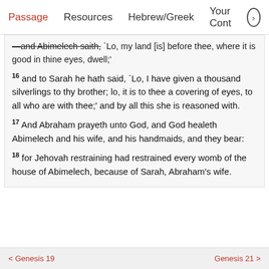Passage   Resources   Hebrew/Greek   Your Cont >
—and Abimelech saith, `Lo, my land [is] before thee, where it is good in thine eyes, dwell;'
16 and to Sarah he hath said, `Lo, I have given a thousand silverlings to thy brother; lo, it is to thee a covering of eyes, to all who are with thee;' and by all this she is reasoned with.
17 And Abraham prayeth unto God, and God healeth Abimelech and his wife, and his handmaids, and they bear:
18 for Jehovah restraining had restrained every womb of the house of Abimelech, because of Sarah, Abraham's wife.
< Genesis 19    Genesis 21 >